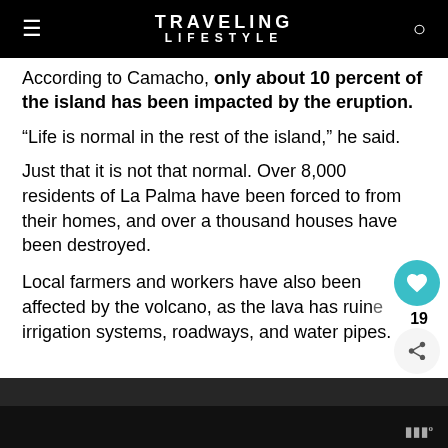TRAVELING LIFESTYLE
According to Camacho, only about 10 percent of the island has been impacted by the eruption.
“Life is normal in the rest of the island,” he said.
Just that it is not that normal. Over 8,000 residents of La Palma have been forced to from their homes, and over a thousand houses have been destroyed.
Local farmers and workers have also been affected by the volcano, as the lava has ruined irrigation systems, roadways, and water pipes.